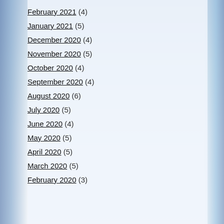February 2021 (4)
January 2021 (5)
December 2020 (4)
November 2020 (5)
October 2020 (4)
September 2020 (4)
August 2020 (6)
July 2020 (5)
June 2020 (4)
May 2020 (5)
April 2020 (5)
March 2020 (5)
February 2020 (3)